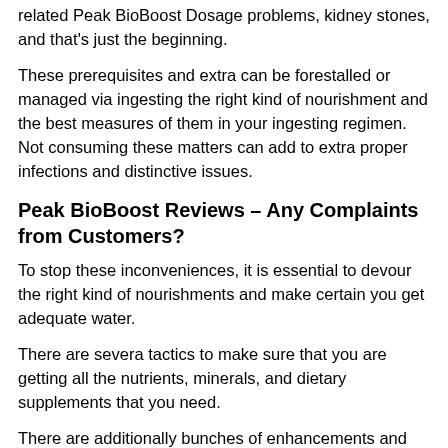related Peak BioBoost Dosage problems, kidney stones, and that's just the beginning.
These prerequisites and extra can be forestalled or managed via ingesting the right kind of nourishment and the best measures of them in your ingesting regimen. Not consuming these matters can add to extra proper infections and distinctive issues.
Peak BioBoost Reviews – Any Complaints from Customers?
To stop these inconveniences, it is essential to devour the right kind of nourishments and make certain you get adequate water.
There are severa tactics to make sure that you are getting all the nutrients, minerals, and dietary supplements that you need.
There are additionally bunches of enhancements and drugs that you can use to ensure that you are getting all the supplements that you need. A few people suggest eating natural nourishments and taking enhancements.